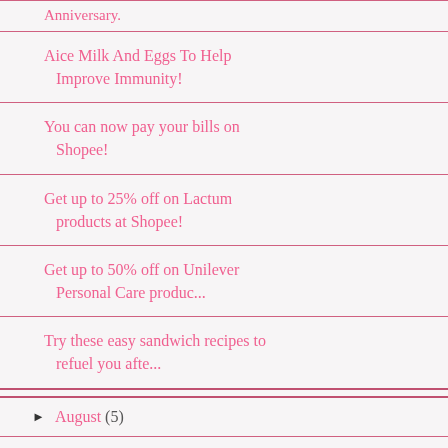Anniversary.
Aice Milk And Eggs To Help Improve Immunity!
You can now pay your bills on Shopee!
Get up to 25% off on Lactum products at Shopee!
Get up to 50% off on Unilever Personal Care produc...
Try these easy sandwich recipes to refuel you afte...
August (5)
July (11)